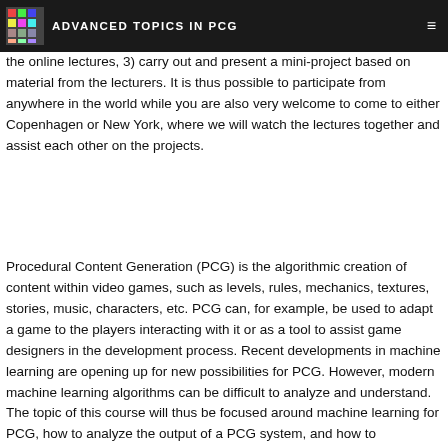ADVANCED TOPICS IN PCG
the online lectures, 3) carry out and present a mini-project based on material from the lecturers. It is thus possible to participate from anywhere in the world while you are also very welcome to come to either Copenhagen or New York, where we will watch the lectures together and assist each other on the projects.
Procedural Content Generation (PCG) is the algorithmic creation of content within video games, such as levels, rules, mechanics, textures, stories, music, characters, etc. PCG can, for example, be used to adapt a game to the players interacting with it or as a tool to assist game designers in the development process. Recent developments in machine learning are opening up for new possibilities for PCG. However, modern machine learning algorithms can be difficult to analyze and understand. The topic of this course will thus be focused around machine learning for PCG, how to analyze the output of a PCG system, and how to incorporate human evaluation or guidance in the generation procedure.